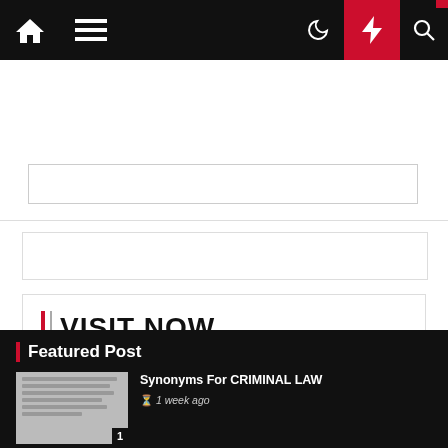Navigation bar with home, menu, moon, bolt, and search icons
[Figure (screenshot): Advertisement placeholder block 1 with bordered inner rectangle]
[Figure (screenshot): Advertisement placeholder block 2, thin horizontal bar]
| | VISIT NOW
Business & Finance
Featured Post
[Figure (screenshot): Thumbnail image of a document page with number 1 badge]
Synonyms For CRIMINAL LAW
1 week ago